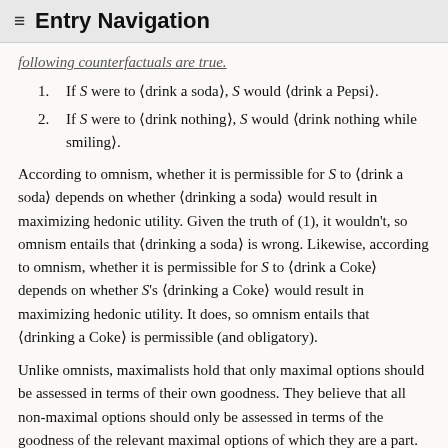≡ Entry Navigation
following counterfactuals are true.
1. If S were to ⟨drink a soda⟩, S would ⟨drink a Pepsi⟩.
2. If S were to ⟨drink nothing⟩, S would ⟨drink nothing while smiling⟩.
According to omnism, whether it is permissible for S to ⟨drink a soda⟩ depends on whether ⟨drinking a soda⟩ would result in maximizing hedonic utility. Given the truth of (1), it wouldn't, so omnism entails that ⟨drinking a soda⟩ is wrong. Likewise, according to omnism, whether it is permissible for S to ⟨drink a Coke⟩ depends on whether S's ⟨drinking a Coke⟩ would result in maximizing hedonic utility. It does, so omnism entails that ⟨drinking a Coke⟩ is permissible (and obligatory).
Unlike omnists, maximalists hold that only maximal options should be assessed in terms of their own goodness. They believe that all non-maximal options should only be assessed in terms of the goodness of the relevant maximal options of which they are a part.